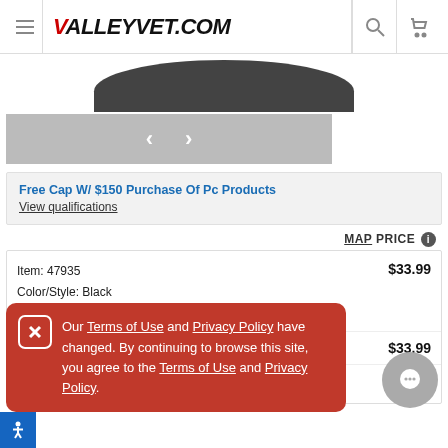VALLEYVET.COM
[Figure (photo): Partial product image, dark/black curved shape at top, resembling a hat or cap viewed from above]
[Figure (other): Gray carousel navigation bar with left and right arrows]
Free Cap W/ $150 Purchase Of Pc Products
View qualifications
MAP PRICE ℹ
| Item/Details | Price |
| --- | --- |
| Item: 47935
Color/Style: Black
Size: M (2 ct) | $33.99 |
|  | $33.99 |
| Color/Style: Black
XL/Both... | $33.99 |
Our Terms of Use and Privacy Policy have changed. By continuing to browse this site, you agree to the Terms of Use and Privacy Policy.